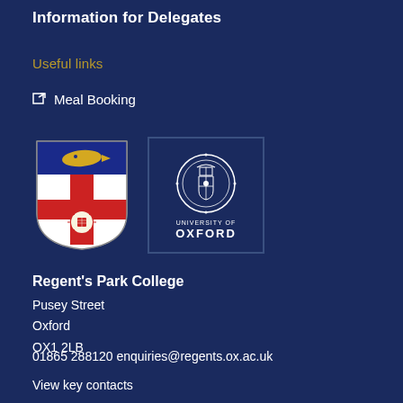Information for Delegates
Useful links
Meal Booking
[Figure (logo): Regent's Park College shield logo with blue top section featuring a fish, red cross on white, and a sunburst/book emblem]
[Figure (logo): University of Oxford logo with circular crest and text 'UNIVERSITY OF OXFORD']
Regent's Park College
Pusey Street
Oxford
OX1 2LB
01865 288120  enquiries@regents.ox.ac.uk
View key contacts